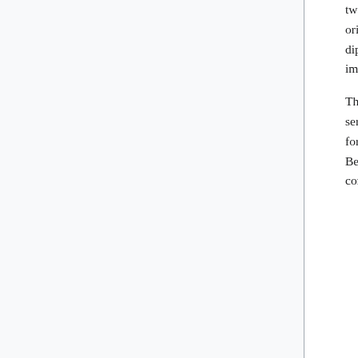two Soviet republics that joined the United Nations along with the Ukrainian SSR as one of the original 51 members in 1945.[155] Belarus and Russia have been close trading partners and diplomatic allies since the breakup of the Soviet Union. Belarus is dependent on Russia for imports of raw materials and for its export market.[156]
The union of Russia and Belarus, a supranational confederation, was established in a 1996–99 series of treaties that called for monetary union, equal rights, single citizenship, and a common foreign and defense policy. However, the future of the union has been placed in doubt because of Belarus's repeated delays of monetary union, the lack of a referendum date for the draft constitution, and a dispute over